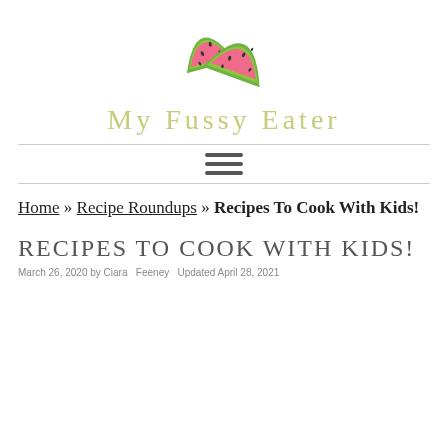[Figure (logo): Two watermelon slice illustrations (watercolor style) above the site name 'My Fussy Eater']
My Fussy Eater
[Figure (other): Hamburger menu icon — three horizontal bars]
Home » Recipe Roundups » Recipes To Cook With Kids!
RECIPES TO COOK WITH KIDS!
March 26, 2020 by Ciara   Feeney   Updated April 28, 2021